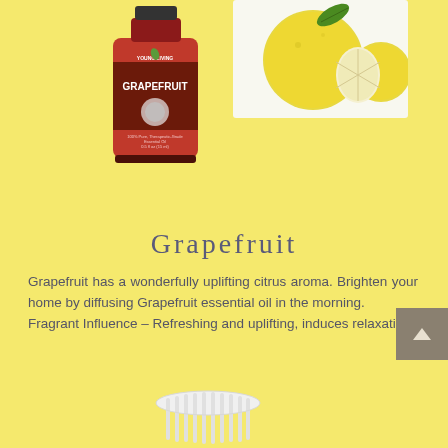[Figure (photo): Young Living Grapefruit essential oil bottle (pink label) and a yellow grapefruit fruit with a slice]
Grapefruit
Grapefruit has a wonderfully uplifting citrus aroma. Brighten your home by diffusing Grapefruit essential oil in the morning.
Fragrant Influence – Refreshing and uplifting, induces relaxation.
[Figure (photo): Bottom portion of a white essential oil bottle cap]